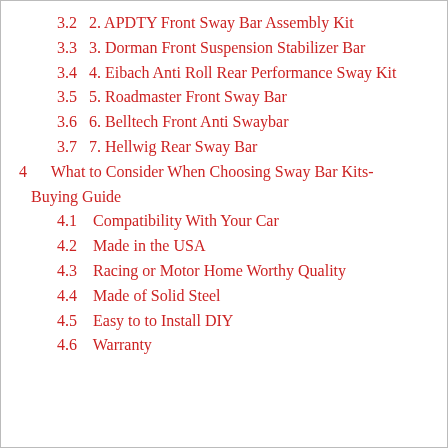3.2  2. APDTY Front Sway Bar Assembly Kit
3.3  3. Dorman Front Suspension Stabilizer Bar
3.4  4. Eibach Anti Roll Rear Performance Sway Kit
3.5  5. Roadmaster Front Sway Bar
3.6  6. Belltech Front Anti Swaybar
3.7  7. Hellwig Rear Sway Bar
4  What to Consider When Choosing Sway Bar Kits- Buying Guide
4.1  Compatibility With Your Car
4.2  Made in the USA
4.3  Racing or Motor Home Worthy Quality
4.4  Made of Solid Steel
4.5  Easy to to Install DIY
4.6  Warranty